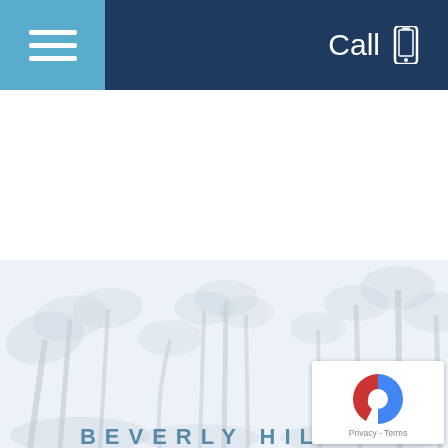Call
[Figure (screenshot): Beverly Hills webpage screenshot showing a navigation bar with hamburger menu and Call button, a white content area, and a faded palm tree photo background with Beverly Hills text at the bottom. A reCAPTCHA badge appears in the bottom right corner.]
BEVERLY HILLS